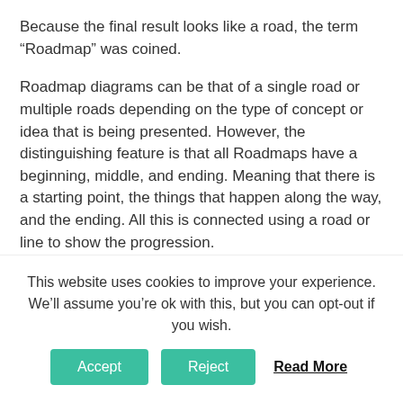Because the final result looks like a road, the term “Roadmap” was coined.
Roadmap diagrams can be that of a single road or multiple roads depending on the type of concept or idea that is being presented. However, the distinguishing feature is that all Roadmaps have a beginning, middle, and ending. Meaning that there is a starting point, the things that happen along the way, and the ending. All this is connected using a road or line to show the progression.
How are Roadmaps Used?
For the most part, Roadmaps are used to demonstrate
This website uses cookies to improve your experience. We’ll assume you’re ok with this, but you can opt-out if you wish.
Accept | Reject | Read More